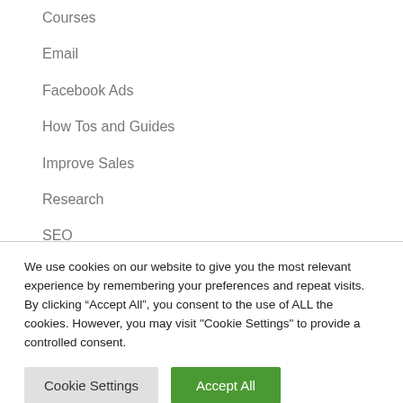Courses
Email
Facebook Ads
How Tos and Guides
Improve Sales
Research
SEO
Social Marketing
We use cookies on our website to give you the most relevant experience by remembering your preferences and repeat visits. By clicking “Accept All”, you consent to the use of ALL the cookies. However, you may visit "Cookie Settings" to provide a controlled consent.
Cookie Settings | Accept All